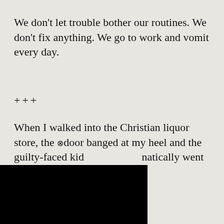We don’t let trouble bother our routines. We don’t fix anything. We go to work and vomit every day.
+++
When I walked into the Christian liquor store, the door banged at my heel and the guilty-faced kid [obscured]matically went for the
[Figure (other): Black rectangle overlay covering part of text (video player or ad obscuring content)]
ADVERTISEMENT
[Figure (photo): Advertisement image showing faces of men, with a DOWNLOAD button overlay and an X close button]